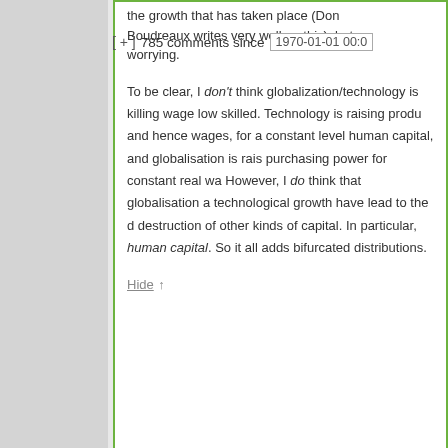[ + ]  785 comments since  1970-01-01 00:0
the growth that has taken place (Don Boudreaux writes very well on this), but worrying.
To be clear, I don't think globalization/technology is killing wages low skilled. Technology is raising productivity and hence wages, for a constant level human capital, and globalisation is raising purchasing power for constant real wages. However, I do think that globalisation and technological growth have lead to the destruction of other kinds of capital. In particular, human capital. So it all adds to bifurcated distributions.
Hide ↑
Brian Donohue says:
December 8, 2015 at 1:48 pm